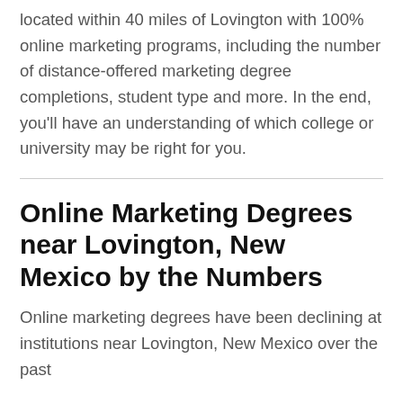located within 40 miles of Lovington with 100% online marketing programs, including the number of distance-offered marketing degree completions, student type and more. In the end, you'll have an understanding of which college or university may be right for you.
Online Marketing Degrees near Lovington, New Mexico by the Numbers
Online marketing degrees have been declining at institutions near Lovington, New Mexico over the past